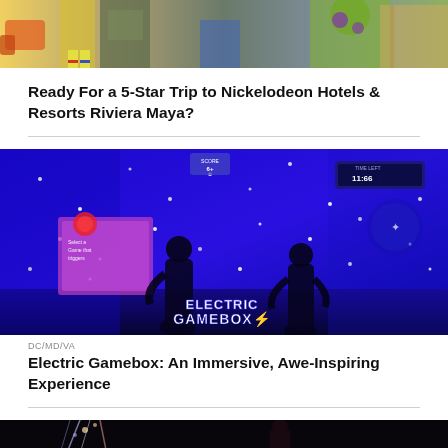[Figure (photo): Top portion of image showing costumed characters at Nickelodeon Hotels & Resorts Riviera Maya, colorful outfits visible]
Ready For a 5-Star Trip to Nickelodeon Hotels & Resorts Riviera Maya?
[Figure (photo): Electric Gamebox immersive gaming room with blue neon lights, silhouettes of players, and glowing dots on walls. ELECTRIC GAMEBOX logo visible.]
DC/MD/VA
Electric Gamebox: An Immersive, Awe-Inspiring Experience
[Figure (photo): Bottom strip showing dark scene with colorful lights, silhouette of a person]